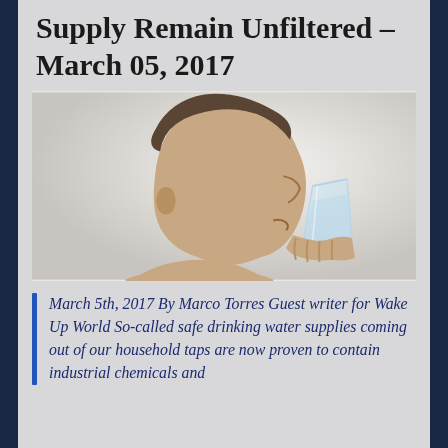Supply Remain Unfiltered – March 05, 2017
[Figure (photo): Side profile of a man drinking from a clear glass of water, tilting his head back, against a light background.]
March 5th, 2017 By Marco Torres Guest writer for Wake Up World So-called safe drinking water supplies coming out of our household taps are now proven to contain industrial chemicals and